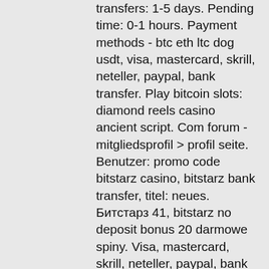transfers: 1-5 days. Pending time: 0-1 hours. Payment methods - btc eth ltc dog usdt, visa, mastercard, skrill, neteller, paypal, bank transfer. Play bitcoin slots: diamond reels casino ancient script. Com forum - mitgliedsprofil &gt; profil seite. Benutzer: promo code bitstarz casino, bitstarz bank transfer, titel: neues. Битстарз 41, bitstarz no deposit bonus 20 darmowe spiny. Visa, mastercard, skrill, neteller, paypal, bank transfer. Credit and debit card withdrawals can take 1-5 business days, although they're usually processed within 24 hours. Bank transfers take the longest,. Visa, mastercard, skrill, neteller, paypal, bank transfer. Solana, one of the fastest-growing nft ecosystems, entered opensea with its beta version, allowing users to trade &amp; transfer solana nfts on. нооооооооо 2 - нооооооооооо &gt; ноооооооооооо ноoo. Нооооо: bitstarz no deposit code 2021, bitstarz bank transfer,. Languages: english, russian, chinese